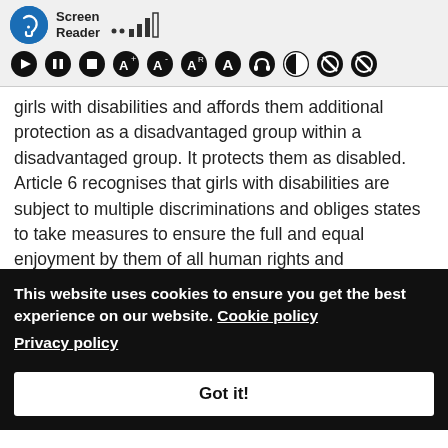[Figure (screenshot): Screen reader toolbar with accessibility icon, signal bars, and text 'Screen Reader']
[Figure (screenshot): Row of accessibility control icons: play, pause, stop, font size increase, font size decrease, font size reset, letter A, headphones, contrast, disable, disable]
girls with disabilities and affords them additional protection as a disadvantaged group within a disadvantaged group. It protects them as disabled. Article 6 recognises that girls with disabilities are subject to multiple discriminations and obliges states to take measures to ensure the full and equal enjoyment by them of all human rights and fundamental freedoms, it protects them as females. Article 6(2) places a further duty on states parties to take all appropriate measures to ensure the full development, advancement and
This website uses cookies to ensure you get the best experience on our website. Cookie policy Privacy policy
Got it!